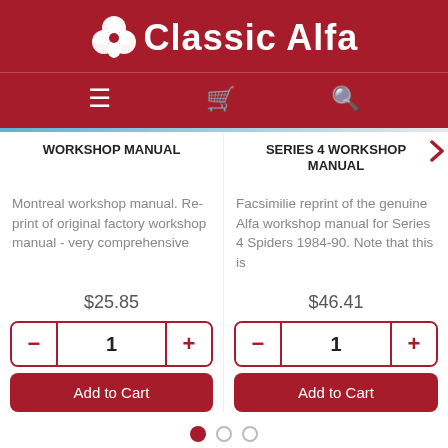[Figure (logo): Classic Alfa logo with cloverleaf icon and white text on dark red background]
WORKSHOP MANUAL
SERIES 4 WORKSHOP MANUAL
Montreal workshop manual. Re-print of original factory workshop manual - very comprehensive
Facsimilie reprint of the genuine Alfa workshop manual for Series 4 Spiders 1984-90. Note that this is
$25.85
$46.41